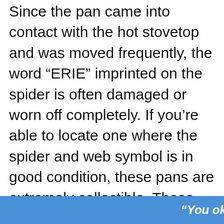Since the pan came into contact with the hot stovetop and was moved frequently, the word “ERIE” imprinted on the spider is often damaged or worn off completely. If you’re able to locate one where the spider and web symbol is in good condition, these pans are extremely collectible. Those with slightly damaged symbols are still collectible, since the number of these pans made was very limited.
[Figure (infographic): Advertisement banner showing an American flag with stars, text reading 'SAY THANK YOU TO DEPLOYED TROOPS']
“You okay?”